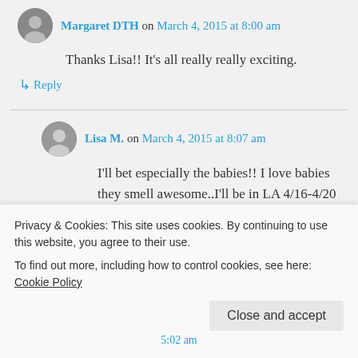Margaret DTH on March 4, 2015 at 8:00 am
Thanks Lisa!! It's all really really exciting.
↳ Reply
Lisa M. on March 4, 2015 at 8:07 am
I'll bet especially the babies!! I love babies they smell awesome..I'll be in LA 4/16-4/20 maybe we can grab
Privacy & Cookies: This site uses cookies. By continuing to use this website, you agree to their use. To find out more, including how to control cookies, see here: Cookie Policy
Close and accept
5:02 am